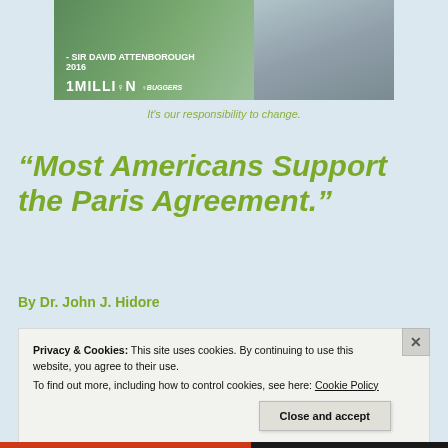[Figure (photo): Banner image showing Sir David Attenborough text overlay with 1Million logo and a person in outdoor clothing]
It's our responsibility to change.
“Most Americans Support the Paris Agreement.”
By Dr. John J. Hidore
Privacy & Cookies: This site uses cookies. By continuing to use this website, you agree to their use.
To find out more, including how to control cookies, see here: Cookie Policy
Close and accept